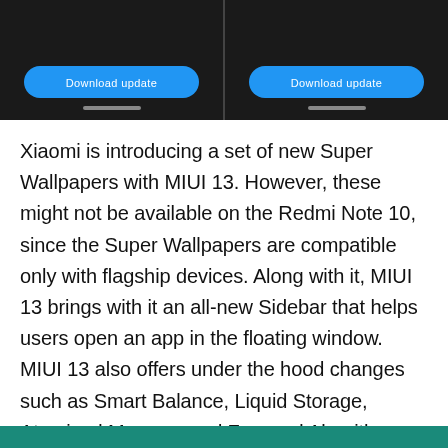[Figure (screenshot): Two side-by-side smartphone screens on black background, each showing a 'Download update' button with blue rounded rectangle style]
Xiaomi is introducing a set of new Super Wallpapers with MIUI 13. However, these might not be available on the Redmi Note 10, since the Super Wallpapers are compatible only with flagship devices. Along with it, MIUI 13 brings with it an all-new Sidebar that helps users open an app in the floating window. MIUI 13 also offers under the hood changes such as Smart Balance, Liquid Storage, Atomized Memory, and Focused Algorithm.